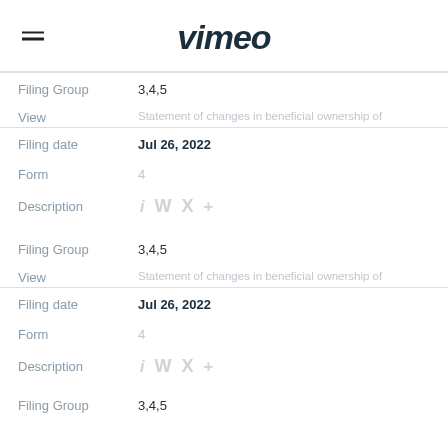vimeo
| Field | Value |
| --- | --- |
| Filing Group | 3,4,5 |
| View | Statement of changes in beneficial ownership of |
| Filing date | Jul 26, 2022 |
| Form | 4 |
| Description |  |
| Filing Group | 3,4,5 |
| View | Statement of changes in beneficial ownership of |
| Filing date | Jul 26, 2022 |
| Form | 4 |
| Description |  |
| Filing Group | 3,4,5 |